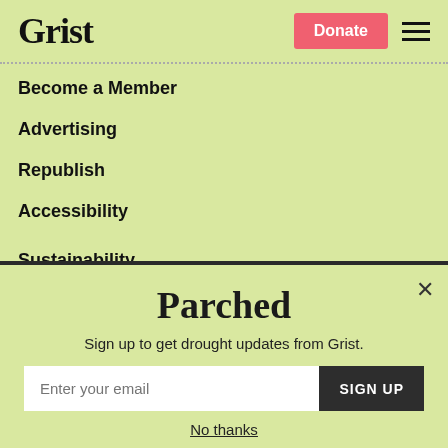Grist
Become a Member
Advertising
Republish
Accessibility
Sustainability
Parched
Sign up to get drought updates from Grist.
Enter your email
SIGN UP
No thanks